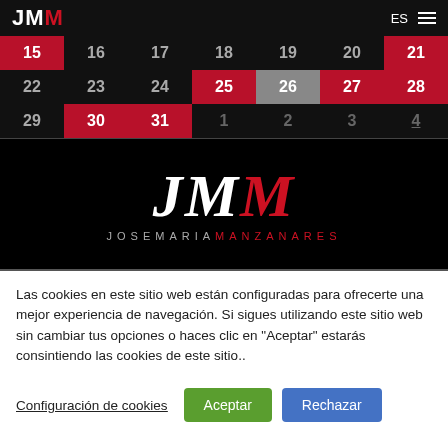JMM | ES
[Figure (screenshot): Calendar widget showing dates 15-31 and 1-4, with red highlighted cells for 15, 21, 25, 27, 28, 30, 31 and gray for 26]
[Figure (logo): JMM logo with JOSEMARIA MANZANARES text on black background]
Las cookies en este sitio web están configuradas para ofrecerte una mejor experiencia de navegación. Si sigues utilizando este sitio web sin cambiar tus opciones o haces clic en "Aceptar" estarás consintiendo las cookies de este sitio..
Configuración de cookies | Aceptar | Rechazar